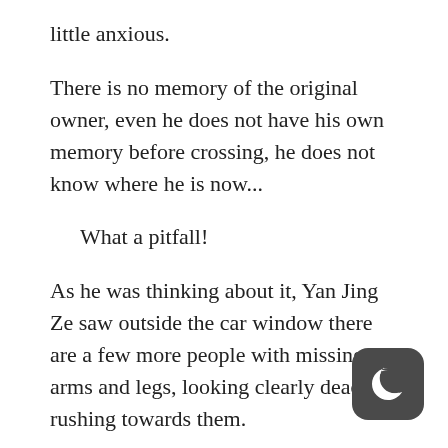little anxious.
There is no memory of the original owner, even he does not have his own memory before crossing, he does not know where he is now...
What a pitfall!
As he was thinking about it, Yan Jing Ze saw outside the car window there are a few more people with missing arms and legs, looking clearly dead, rushing towards them.
Each and every one of them, some of them have crooked necks, some of them have missing arms, some of them have rotten bodies, so why would t still run?